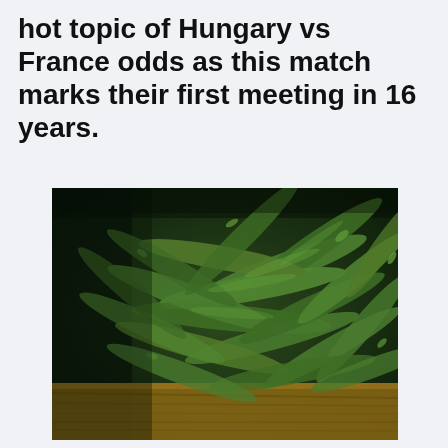hot topic of Hungary vs France odds as this match marks their first meeting in 16 years.
[Figure (photo): Close-up photograph of a large pile of fresh green beans in a wooden crate or box, with a dark background.]